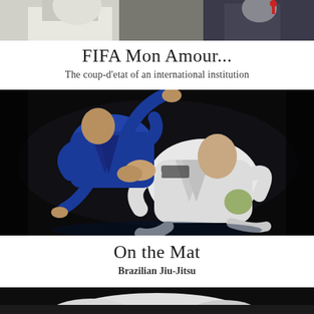[Figure (photo): Partial photo at top of page, appears to show people at an event, cropped — likely related to FIFA/sports governance]
FIFA Mon Amour...
The coup-d'etat of an international institution
[Figure (photo): Action photo of two Brazilian Jiu-Jitsu fighters grappling. One in blue gi, one in white gi, dark background.]
On the Mat
Brazilian Jiu-Jitsu
[Figure (photo): Partial photo at bottom of page, cropped — appears to show martial arts or sports, dark background]